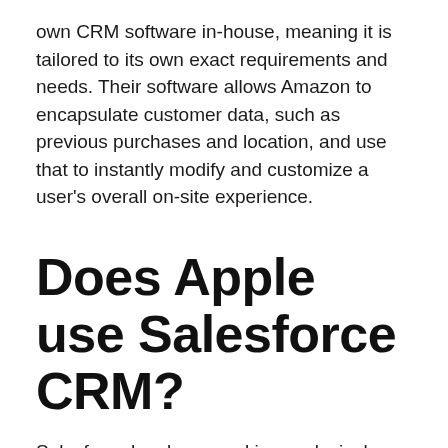own CRM software in-house, meaning it is tailored to its own exact requirements and needs. Their software allows Amazon to encapsulate customer data, such as previous purchases and location, and use that to instantly modify and customize a user's overall on-site experience.
Does Apple use Salesforce CRM?
Salesforce has been working exclusively with Apple since last year to maximize the Salesforce experience on Apple. Apple helps Salesforce develop and optimize its apps.